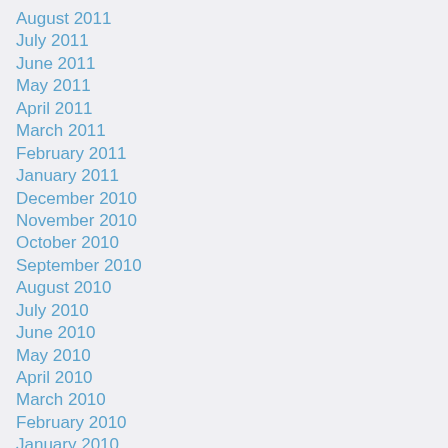August 2011
July 2011
June 2011
May 2011
April 2011
March 2011
February 2011
January 2011
December 2010
November 2010
October 2010
September 2010
August 2010
July 2010
June 2010
May 2010
April 2010
March 2010
February 2010
January 2010
December 2009
November 2009
October 2009